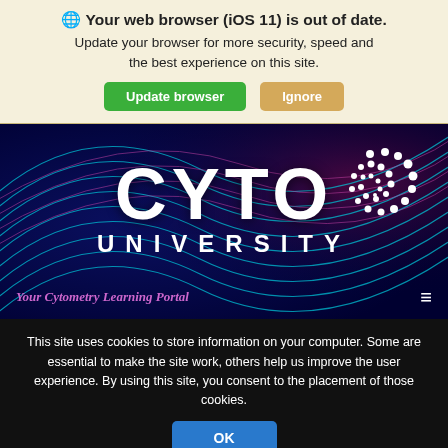🌐 Your web browser (iOS 11) is out of date. Update your browser for more security, speed and the best experience on this site.
Update browser | Ignore
[Figure (screenshot): CYTO UNIVERSITY - Your Cytometry Learning Portal hero banner with dark blue/purple background featuring flowing cyan and magenta light wave graphics and a spiral dot pattern in top right]
This site uses cookies to store information on your computer. Some are essential to make the site work, others help us improve the user experience. By using this site, you consent to the placement of those cookies.
OK
More information
Any